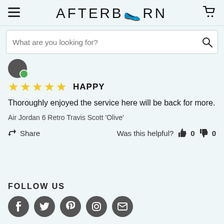AFTERBURN
What are you looking for?
[Figure (other): Reviewer avatar with green verification checkmark]
★★★★★ HAPPY
Thoroughly enjoyed the service here will be back for more.
Air Jordan 6 Retro Travis Scott 'Olive'
Share   Was this helpful? 👍 0 👎 0
FOLLOW US
[Figure (other): Social media icons: Facebook, Twitter, Pinterest, Instagram, Email]